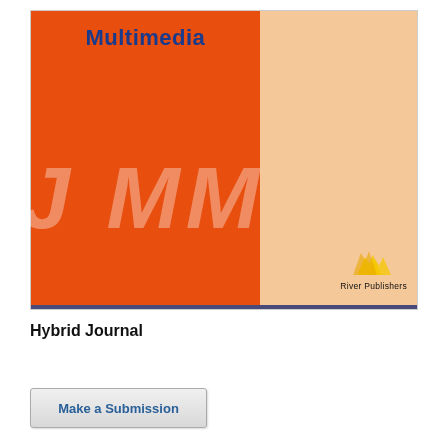[Figure (logo): JMM Journal cover with orange left panel showing 'Multimedia' title in blue, light peach right panel, large italic 'J MM' watermark letters across both panels, River Publishers logo and text in bottom right of right panel, and a dark blue-purple divider line at the bottom]
Hybrid Journal
Make a Submission